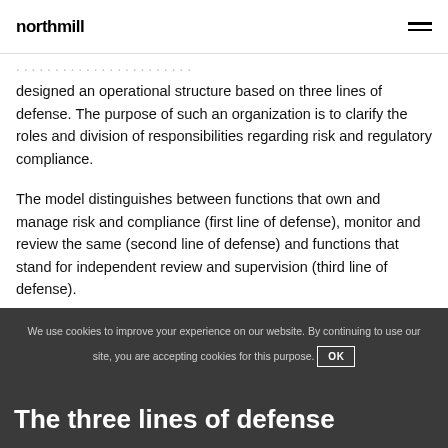northmill
designed an operational structure based on three lines of defense. The purpose of such an organization is to clarify the roles and division of responsibilities regarding risk and regulatory compliance.
The model distinguishes between functions that own and manage risk and compliance (first line of defense), monitor and review the same (second line of defense) and functions that stand for independent review and supervision (third line of defense).
We use cookies to improve your experience on our website. By continuing to use our site, you are accepting cookies for this purpose. OK
The three lines of defense